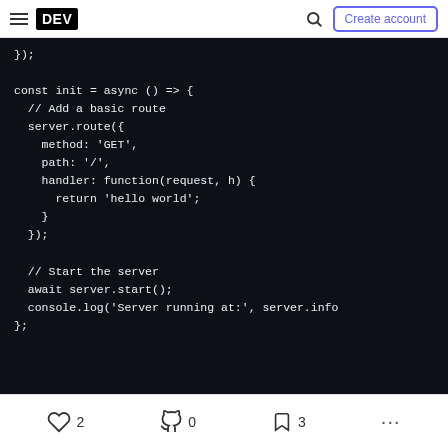DEV | Search | Create account
[Figure (screenshot): Dark-themed code editor showing JavaScript code with a Hapi.js server route and init function]
2 likes | 0 unicorns | 3 bookmarks | more options